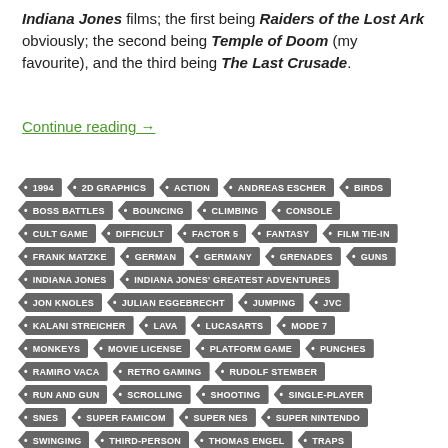Indiana Jones films; the first being Raiders of the Lost Ark obviously; the second being Temple of Doom (my favourite), and the third being The Last Crusade.
Continue reading →
1994
2D GRAPHICS
ACTION
ANDREAS ESCHER
BIRDS
BOSS BATTLES
BOUNCING
CLIMBING
CONSOLE
CULT GAME
DIFFICULT
FACTOR 5
FANTASY
FILM TIE-IN
FRANK MATZKE
GERMAN
GERMANY
GRENADES
GUNS
INDIANA JONES
INDIANA JONES' GREATEST ADVENTURES
JON KNOLES
JULIAN EGGEBRECHT
JUMPING
JVC
KALANI STREICHER
LAVA
LUCASARTS
MODE 7
MONKEYS
MOVIE LICENSE
PLATFORM GAME
PUNCHES
RAMIRO VACA
RETRO GAMING
RUDOLF STEMBER
RUN AND GUN
SCROLLING
SHOOTING
SINGLE-PLAYER
SNES
SUPER FAMICOM
SUPER NES
SUPER NINTENDO
SWINGING
THIRD-PERSON
THOMAS ENGEL
TRAPS